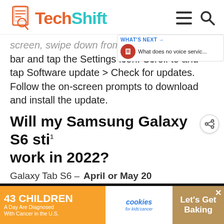TechShift
screen, swipe down from the Notification bar and tap the Settings icon. Scroll to and tap Software update > Check for updates. Follow the on-screen prompts to download and install the update.
Will my Samsung Galaxy S6 still work in 2022?
Galaxy Tab S6 – April or May 20...
[Figure (screenshot): Dark image strip showing stylized barcode-like graphic elements, partially cropped]
[Figure (infographic): Advertisement banner: '43 CHILDREN A Day Are Diagnosed With Cancer in the U.S.' with cookies for kids' cancer logo and 'Let's Get Baking' text on the right]